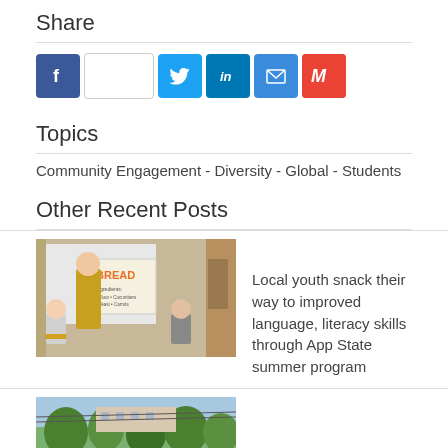Share
[Figure (infographic): Social share buttons: Facebook, blank/share count, Twitter, LinkedIn, Email, Gmail]
Topics
Community Engagement  -  Diversity  -  Global  -  Students
Other Recent Posts
[Figure (photo): Photo of a classroom scene with a woman holding a BREAD sign and children seated]
Local youth snack their way to improved language, literacy skills through App State summer program
[Figure (photo): Partial photo showing outdoor scene with trees and a building in background]